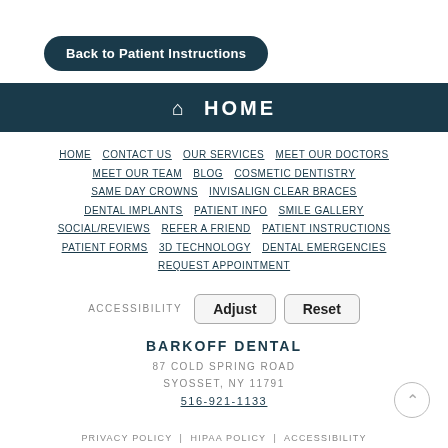Back to Patient Instructions
HOME
HOME  CONTACT US  OUR SERVICES  MEET OUR DOCTORS  MEET OUR TEAM  BLOG  COSMETIC DENTISTRY  SAME DAY CROWNS  INVISALIGN CLEAR BRACES  DENTAL IMPLANTS  PATIENT INFO  SMILE GALLERY  SOCIAL/REVIEWS  REFER A FRIEND  PATIENT INSTRUCTIONS  PATIENT FORMS  3D TECHNOLOGY  DENTAL EMERGENCIES  REQUEST APPOINTMENT
ACCESSIBILITY  Adjust  Reset
BARKOFF DENTAL
87 COLD SPRING ROAD
SYOSSET, NY 11791
516-921-1133
PRIVACY POLICY | HIPAA POLICY | ACCESSIBILITY